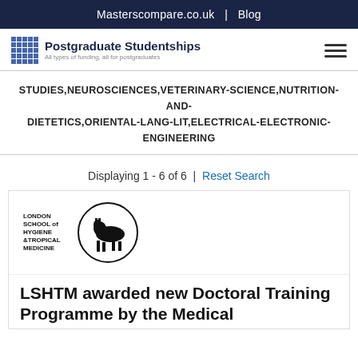Masterscompare.co.uk  |  Blog
[Figure (logo): Postgraduate Studentships logo with grid icon and tagline 'All types of funding, all for postgraduates']
STUDIES,NEUROSCIENCES,VETERINARY-SCIENCE,NUTRITION-AND-DIETETICS,ORIENTAL-LANG-LIT,ELECTRICAL-ELECTRONIC-ENGINEERING
Displaying 1 - 6 of 6  |  Reset Search
[Figure (logo): London School of Hygiene & Tropical Medicine circular logo with horse and text]
LSHTM awarded new Doctoral Training Programme by the Medical Research Council